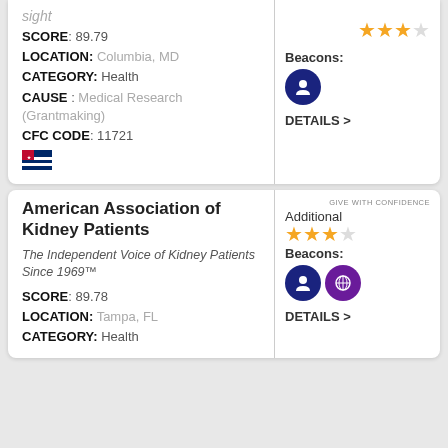sight
SCORE: 89.79
LOCATION: Columbia, MD
CATEGORY: Health
CAUSE : Medical Research (Grantmaking)
CFC CODE: 11721
Additional Beacons: DETAILS >
American Association of Kidney Patients
The Independent Voice of Kidney Patients Since 1969™
SCORE: 89.78
LOCATION: Tampa, FL
CATEGORY: Health
Additional Beacons: DETAILS >